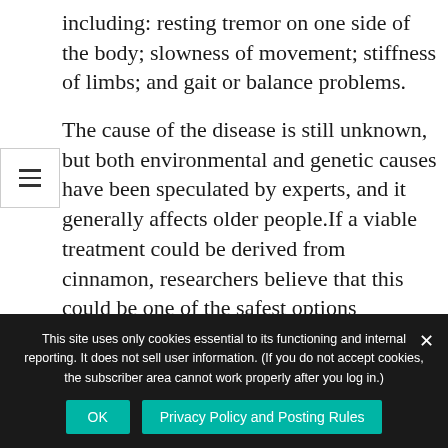including: resting tremor on one side of the body; slowness of movement; stiffness of limbs; and gait or balance problems.
The cause of the disease is still unknown, but both environmental and genetic causes have been speculated by experts, and it generally affects older people.If a viable treatment could be derived from cinnamon, researchers believe that this could be one of the safest options available to stop the progression of the disease, which is currently incurable. It is always encouraging when science appears to find an answer in Nature, proof that our Earth can supply the answers to
This site uses only cookies essential to its functioning and internal reporting. It does not sell user information. (If you do not accept cookies, the subscriber area cannot work properly after you log in.)